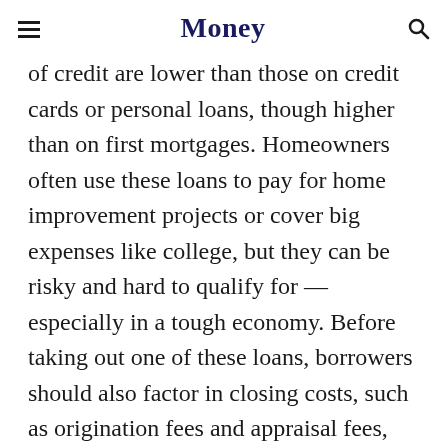Money
of credit are lower than those on credit cards or personal loans, though higher than on first mortgages. Homeowners often use these loans to pay for home improvement projects or cover big expenses like college, but they can be risky and hard to qualify for — especially in a tough economy. Before taking out one of these loans, borrowers should also factor in closing costs, such as origination fees and appraisal fees, which generally total between 2% to 5% of the loan value.